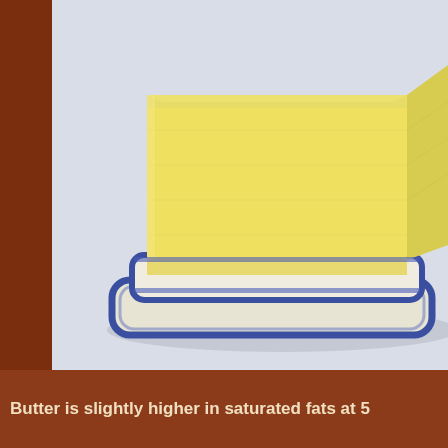[Figure (photo): A block of butter sitting on a white ceramic butter dish with a blue decorative rim, photographed against a light grey/white background.]
Butter is slightly higher in saturated fats at 5